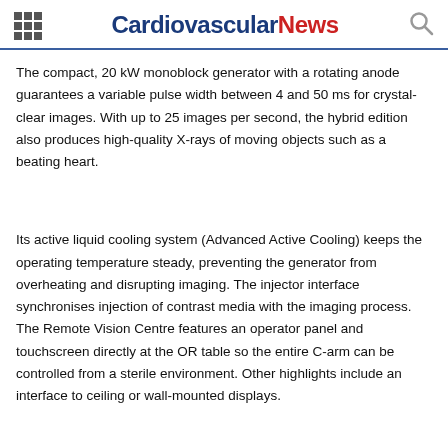Cardiovascular News
The compact, 20 kW monoblock generator with a rotating anode guarantees a variable pulse width between 4 and 50 ms for crystal-clear images. With up to 25 images per second, the hybrid edition also produces high-quality X-rays of moving objects such as a beating heart.
Its active liquid cooling system (Advanced Active Cooling) keeps the operating temperature steady, preventing the generator from overheating and disrupting imaging. The injector interface synchronises injection of contrast media with the imaging process. The Remote Vision Centre features an operator panel and touchscreen directly at the OR table so the entire C-arm can be controlled from a sterile environment. Other highlights include an interface to ceiling or wall-mounted displays.